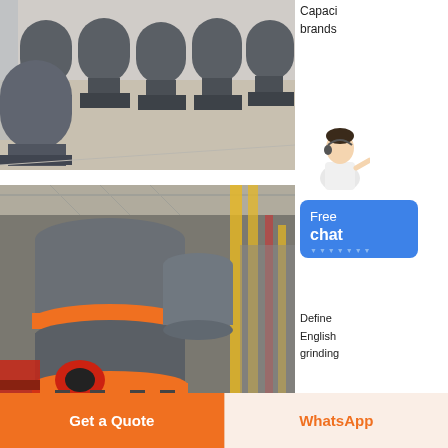[Figure (photo): Industrial factory floor with multiple large grey cone crusher machines arranged in rows]
Capacity brands
[Figure (illustration): Customer service assistant figure, woman in white shirt with headset]
[Figure (other): Free chat button - blue rounded rectangle with text Free chat and decorative teeth pattern]
[Figure (photo): Close-up of a large cone crusher machine in an industrial facility, with orange and grey components]
Define English grinding
Get a Quote
WhatsApp